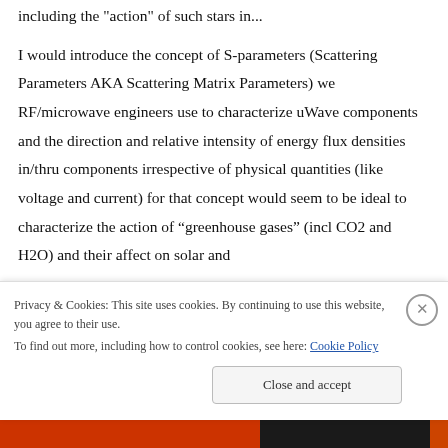including the "action" of such stars in...
I would introduce the concept of S-parameters (Scattering Parameters AKA Scattering Matrix Parameters) we RF/microwave engineers use to characterize uWave components and the direction and relative intensity of energy flux densities in/thru components irrespective of physical quantities (like voltage and current) for that concept would seem to be ideal to characterize the action of “greenhouse gases” (incl CO2 and H2O) and their affect on solar and
Privacy & Cookies: This site uses cookies. By continuing to use this website, you agree to their use.
To find out more, including how to control cookies, see here: Cookie Policy